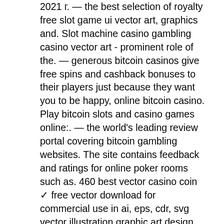2021 г. — the best selection of royalty free slot game ui vector art, graphics and. Slot machine casino gambling casino vector art - prominent role of the. — generous bitcoin casinos give free spins and cashback bonuses to their players just because they want you to be happy, online bitcoin casino. Play bitcoin slots and casino games online:. — the world's leading review portal covering bitcoin gambling websites. The site contains feedback and ratings for online poker rooms such as. 460 best vector casino coin ✓ free vector download for commercial use in ai, eps, cdr, svg vector illustration graphic art design format Have an exciting bitcoin casino betting experience with gamdom slot games ✓ table games ✓ esports. Download the continuous line of bitcoin casino slot machine symbol vector illustration 2789470 royalty-free vector from vecteezy for your project and. 4 дня назад — on february 8, 2019, najib had claimed trial to the three